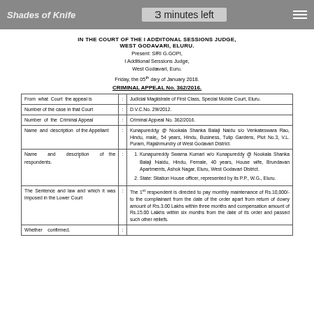Shades of Knife   3 minutes left
IN THE COURT OF THE I ADDITONAL SESSIONS JUDGE, WEST GODAVARI, ELURU.
Present: SRI G.GOPI, I Additional Sessions Judge, West Godavari, Euru.
Friday, the 05th day of January 2018.
CRIMINAL APPEAL No. 362/2016.
| From what Court the appeal is | : | Judicial Magistrate of First Class, Special Mobile Court, Eluru. |
| --- | --- | --- |
| Number of the case in that Court | : | D.V.C.No. 29/2012. |
| Number of the Criminal Appeal | : | Criminal Appeal No. 362/2016. |
| Name and description of the Appellant | : | Kunapureddy @ Nookala Shanka Balaji Naidu s/o Venkateswara Rao, Hindu, male, 54 years, Hindu, Business, Tulip Gardens, Plot No.3, V.L. Puram, Rajahmundry of West Godavari District. |
| Name and description of the respondents. | : | 1. Kunapureddy Swarna Kumari w/o Kunapureddy @ Nookala Shanka Balaji Naidu, Hindu, Female, 40 years, House wife, Brundavan Apartments, Ashok Nagar, Eluru, West Godavari District. 2. State: Station House officer, represented by its P.P., W.G., Eluru. |
| The Sentence and law and which it was imposed in the Lower Court | : | The 1st respondent is directed to pay monthly maintenance of Rs.10,000/- to the complainant from the date of the order apart from return of dowry amount of Rs.3.00 Lakhs within three months and compensation amount of Rs.15.00 Lakhs within six months from the date of its order and passed such other reliefs. |
| Whether confirmed, | : |  |